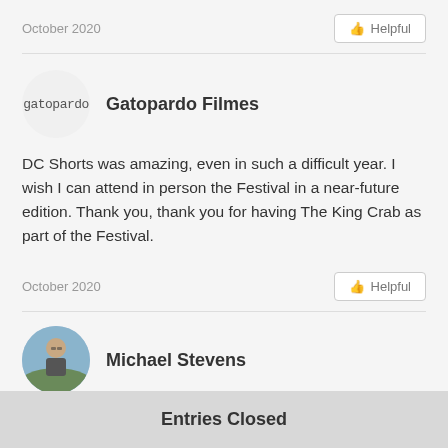October 2020
Helpful
[Figure (illustration): Circular avatar with text 'gatopardo' in monospace font on light gray background]
Gatopardo Filmes
DC Shorts was amazing, even in such a difficult year. I wish I can attend in person the Festival in a near-future edition. Thank you, thank you for having The King Crab as part of the Festival.
October 2020
Helpful
[Figure (photo): Circular profile photo of Michael Stevens, person sitting outdoors]
Michael Stevens
Entries Closed